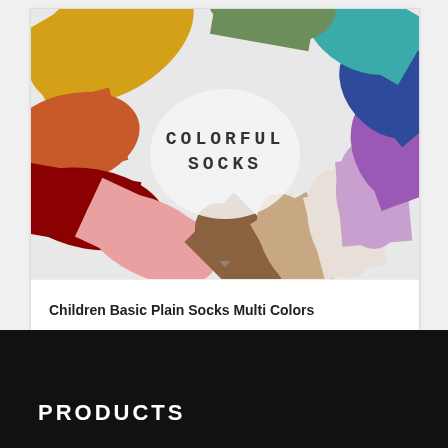[Figure (photo): A flat lay photo of multiple colorful folded socks arranged in a fan/circle pattern showing various colors: yellow, orange, red, burgundy, pink, brown, tan, white, lavender, purple, blue, teal, and green. Text overlay in the center reads 'COLORFUL SOCKS' in a handwritten/stamp style font.]
Children Basic Plain Socks Multi Colors
PRODUCTS